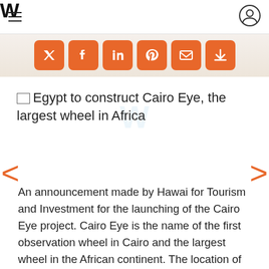W
[Figure (infographic): Social sharing icons bar with orange rounded-square buttons for Twitter, Facebook, LinkedIn, Pinterest, email/link, and a down-arrow share button]
[Figure (photo): Broken image placeholder with alt text: Egypt to construct Cairo Eye, the largest wheel in Africa]
An announcement made by Hawai for Tourism and Investment for the launching of the Cairo Eye project. Cairo Eye is the name of the first observation wheel in Cairo and the largest wheel in the African continent. The location of Cairo Eye is to overlook the Nile River in the heart of Cairo approximately to the key Egyptian touristic